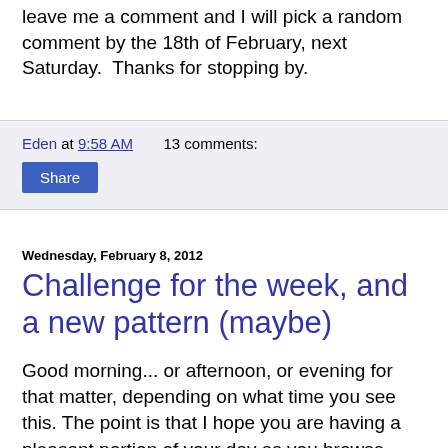leave me a comment and I will pick a random comment by the 18th of February, next Saturday.  Thanks for stopping by.
Eden at 9:58 AM    13 comments:
Share
Wednesday, February 8, 2012
Challenge for the week, and a new pattern (maybe)
Good morning... or afternoon, or evening for that matter, depending on what time you see this. The point is that I hope you are having a pleasant portion of your day as you browse around at nice things to look at and amusing things to read on the internet I was delighted to see that the tangle pattern Sanibelle was chosen as the challenge at The Diva this week because it has been a favorite of mine since I found out about Zentangle a few months back. I used it quite a lot for a while and had been trying to branch out and use new